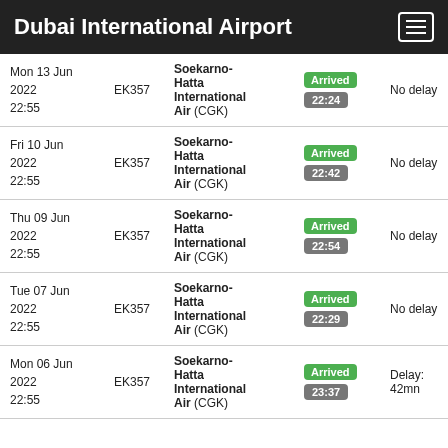Dubai International Airport
| Date | Flight | Destination | Status | Delay |
| --- | --- | --- | --- | --- |
| Mon 13 Jun 2022 22:55 | EK357 | Soekarno-Hatta International Air (CGK) | Arrived 22:24 | No delay |
| Fri 10 Jun 2022 22:55 | EK357 | Soekarno-Hatta International Air (CGK) | Arrived 22:42 | No delay |
| Thu 09 Jun 2022 22:55 | EK357 | Soekarno-Hatta International Air (CGK) | Arrived 22:54 | No delay |
| Tue 07 Jun 2022 22:55 | EK357 | Soekarno-Hatta International Air (CGK) | Arrived 22:29 | No delay |
| Mon 06 Jun 2022 22:55 | EK357 | Soekarno-Hatta International Air (CGK) | Arrived 23:37 | Delay: 42mn |